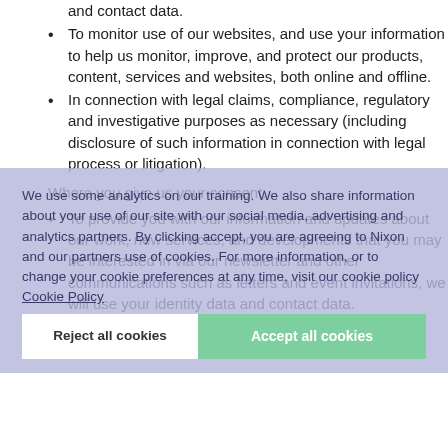and contact data.
To monitor use of our websites, and use your information to help us monitor, improve, and protect our products, content, services and websites, both online and offline.
In connection with legal claims, compliance, regulatory and investigative purposes as necessary (including disclosure of such information in connection with legal process or litigation).
Where you give us your consent:
To provide you with our information and updates about our work, new services, and developments that you may be interested in via our newsletter and other communications such as letters and event invitations, we will use your identity data and contact data.
We use some analytics on our training. We also share information about your use of our site with our social media, advertising and analytics partners. By clicking accept, you are agreeing to Nixon and our partners use of cookies. For more information, or to change your cookie preferences at any time, visit our cookie policy Cookie Policy
Reject all cookies
Accept all cookies